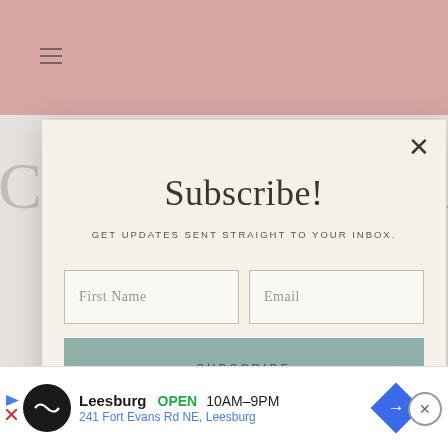[Figure (screenshot): Pink website header with hamburger menu icon]
Subscribe!
GET UPDATES SENT STRAIGHT TO YOUR INBOX.
First Name
Email
SUBSCRIBE
[Figure (screenshot): Advertisement bar: Leesburg OPEN 10AM-9PM, 241 Fort Evans Rd NE, Leesburg]